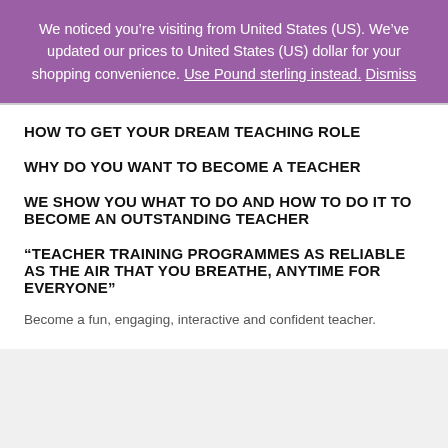We noticed you’re visiting from United States (US). We’ve updated our prices to United States (US) dollar for your shopping convenience. Use Pound sterling instead. Dismiss
HOW TO GET YOUR DREAM TEACHING ROLE
WHY DO YOU WANT TO BECOME A TEACHER
WE SHOW YOU WHAT TO DO AND HOW TO DO IT TO BECOME AN OUTSTANDING TEACHER
“TEACHER TRAINING PROGRAMMES AS RELIABLE AS THE AIR THAT YOU BREATHE, ANYTIME FOR EVERYONE”
Become a fun, engaging, interactive and confident teacher.